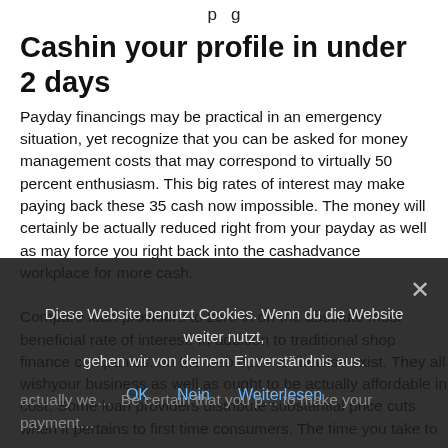p g
Cashin your profile in under 2 days
Payday financings may be practical in an emergency situation, yet recognize that you can be asked for money management costs that may correspond to virtually 50 percent enthusiasm. This big rates of interest may make paying back these 35 cash now impossible. The money will certainly be actually reduced right from your payday as well as may force you right back into the cashadvance workplace for more cash.
Compare loan providers to zero in on the absolute most beneficial rate of interest. In addition to traditional shop finance companies, on the web options likewise exist. They all wishyour business as well as ought to be actually affordable in cost. Some loan providers distribute substantial price cuts when it pertains to first time consumers. The time you take to actually we... Be certain that you p... to make your payment...
Diese Website benutzt Cookies. Wenn du die Website weiter nutzt, gehen wir von deinem Einverständnis aus.
OK  Nein  Weiterlesen